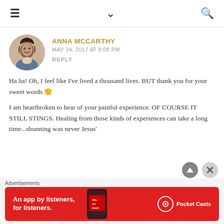≡  ∨  🔍
ANNA MCCARTHY
MAY 24, 2017 AT 8:08 PM
REPLY
Ha ha! Oh, I feel like I've lived a thousand lives. BUT thank you for your sweet words 🙂
I am heartbroken to hear of your painful experience. OF COURSE IT STILL STINGS. Healing from those kinds of experiences can take a long time...shunning was never Jesus'
Advertisements
[Figure (infographic): Red Pocket Casts advertisement banner: 'An app by listeners, for listeners.' with phone mockup showing 'Distributed' text and Pocket Casts logo]